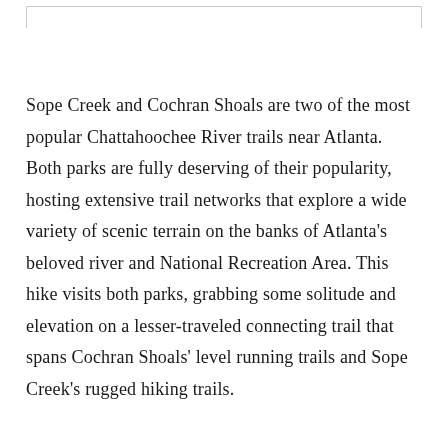Sope Creek and Cochran Shoals are two of the most popular Chattahoochee River trails near Atlanta. Both parks are fully deserving of their popularity, hosting extensive trail networks that explore a wide variety of scenic terrain on the banks of Atlanta's beloved river and National Recreation Area. This hike visits both parks, grabbing some solitude and elevation on a lesser-traveled connecting trail that spans Cochran Shoals' level running trails and Sope Creek's rugged hiking trails.